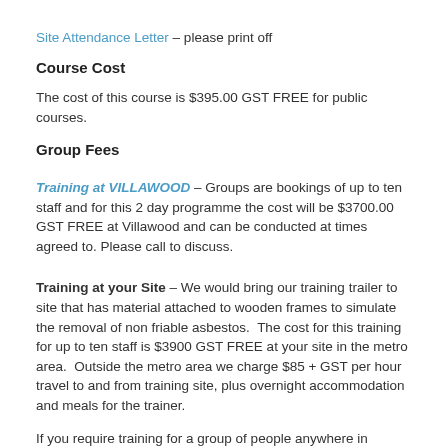Site Attendance Letter – please print off
Course Cost
The cost of this course is $395.00 GST FREE for public courses.
Group Fees
Training at VILLAWOOD – Groups are bookings of up to ten staff and for this 2 day programme the cost will be $3700.00 GST FREE at Villawood and can be conducted at times agreed to. Please call to discuss.
Training at your Site – We would bring our training trailer to site that has material attached to wooden frames to simulate the removal of non friable asbestos.  The cost for this training for up to ten staff is $3900 GST FREE at your site in the metro area.  Outside the metro area we charge $85 + GST per hour travel to and from training site, plus overnight accommodation and meals for the trainer.
If you require training for a group of people anywhere in Australia